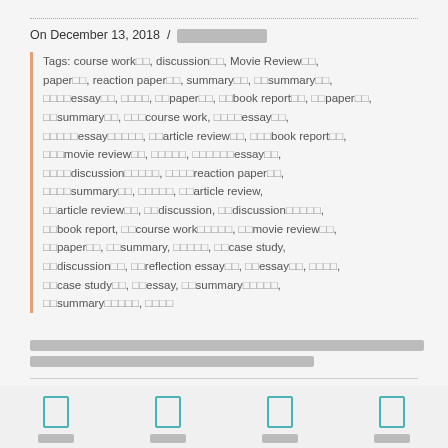On December 13, 2018 / [redacted]
Tags: course work□□, discussion□□, Movie Review□□, paper□□, reaction paper□□, summary□□, □□summary□□, □□□□essay□□, □□□□, □□paper□□, □□book report□□, □□paper□□, □□summary□□, □□□course work, □□□□essay□□, □□□□□essay□□□□□, □□article review□□, □□□book report□□, □□□movie review□□, □□□□□, □□□□□□essay□□, □□□□discussion□□□□□, □□□□reaction paper□□, □□□□summary□□, □□□□□, □□article review, □□article review□□, □□discussion, □□discussion□□□□□, □□book report, □□course work□□□□□, □□movie review□□, □□paper□□, □□summary, □□□□□, □□case study, □□discussion□□, □□reflection essay□□, □□essay□□, □□□□, □□case study□□, □□essay, □□summary□□□□□, □□summary□□□□□, □□□□
[redacted body text]
[navigation icons]